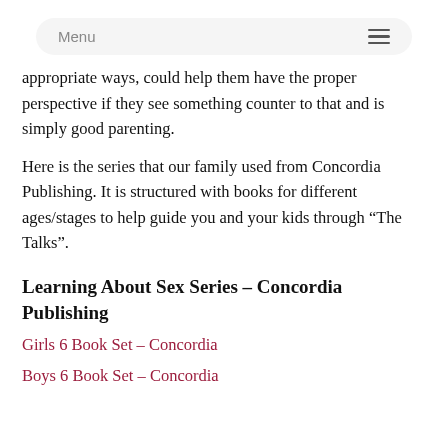Menu
appropriate ways, could help them have the proper perspective if they see something counter to that and is simply good parenting.
Here is the series that our family used from Concordia Publishing. It is structured with books for different ages/stages to help guide you and your kids through “The Talks”.
Learning About Sex Series – Concordia Publishing
Girls 6 Book Set – Concordia
Boys 6 Book Set – Concordia